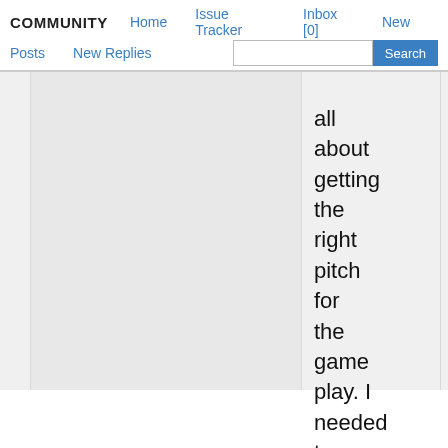COMMUNITY  Home  Issue Tracker  Inbox [0]  New  Posts  New Replies  Search
all about getting the right pitch for the game play. I needed to tweak the input to be more